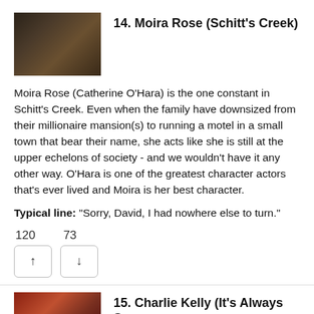14. Moira Rose (Schitt's Creek)
[Figure (photo): Photo of Moira Rose character from Schitt's Creek, wearing a black feathered outfit]
Moira Rose (Catherine O'Hara) is the one constant in Schitt's Creek. Even when the family have downsized from their millionaire mansion(s) to running a motel in a small town that bear their name, she acts like she is still at the upper echelons of society - and we wouldn't have it any other way. O'Hara is one of the greatest character actors that's ever lived and Moira is her best character.
Typical line: "Sorry, David, I had nowhere else to turn."
120   73
15. Charlie Kelly (It's Always Sunny